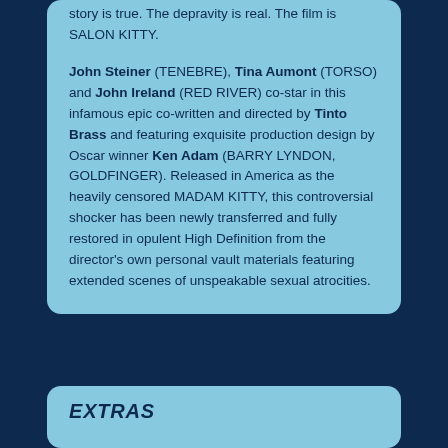story is true. The depravity is real. The film is SALON KITTY.
John Steiner (TENEBRE), Tina Aumont (TORSO) and John Ireland (RED RIVER) co-star in this infamous epic co-written and directed by Tinto Brass and featuring exquisite production design by Oscar winner Ken Adam (BARRY LYNDON, GOLDFINGER). Released in America as the heavily censored MADAM KITTY, this controversial shocker has been newly transferred and fully restored in opulent High Definition from the director's own personal vault materials featuring extended scenes of unspeakable sexual atrocities.
EXTRAS